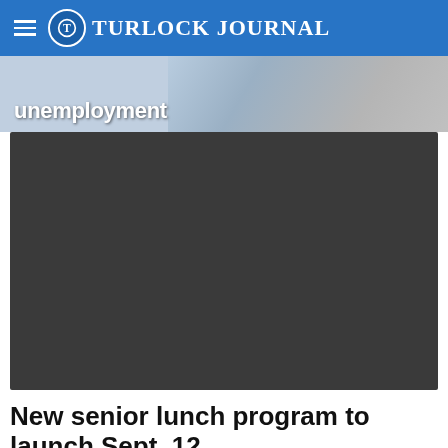Turlock Journal
[Figure (photo): Partial view of a news article image showing the word 'unemployment' in white bold text over a photo, with a person in a suit visible on the right side]
[Figure (other): Dark gray video player block (no content visible, placeholder or loading state)]
New senior lunch program to launch Sept. 12